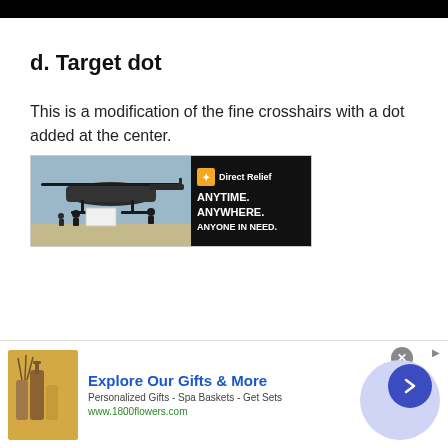d. Target dot
This is a modification of the fine crosshairs with a dot added at the center.
[Figure (photo): Direct Relief advertisement banner showing military personnel loading cargo from a helicopter, with text 'ANYTIME. ANYWHERE. ANYONE IN NEED.']
[Figure (photo): 1800flowers.com advertisement with gift products, title 'Explore Our Gifts & More', subtitle 'Personalized Gifts - Spa Baskets - Get Sets', URL 'www.1800flowers.com']